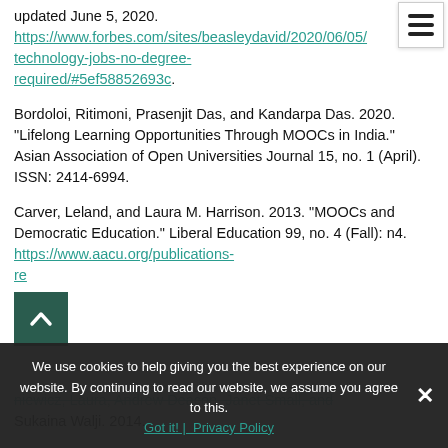updated June 5, 2020.
https://www.forbes.com/sites/beasleydavid/2020/06/05/technology-jobs-no-degree-required/#5ef58852693c.
Bordoloi, Ritimoni, Prasenjit Das, and Kandarpa Das. 2020. “Lifelong Learning Opportunities Through MOOCs in India.” Asian Association of Open Universities Journal 15, no. 1 (April). ISSN: 2414-6994.
Carver, Leland, and Laura M. Harrison. 2013. “MOOCs and Democratic Education.” Liberal Education 99, no. 4 (Fall): n4. https://www.aacu.org/publications-re...
...niewicz, Laura, Andrew Deacon, Janet Small, and Sukaina Walji. 2014.
We use cookies to help giving you the best experience on our website. By continuing to read our website, we assume you agree to this.